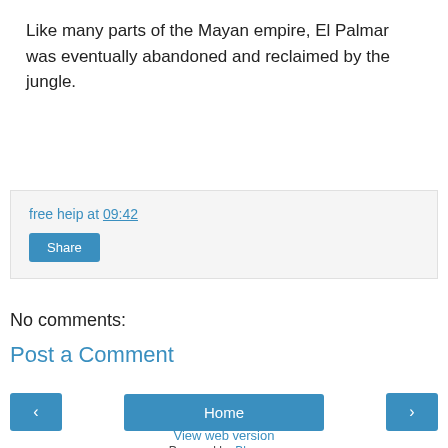Like many parts of the Mayan empire, El Palmar was eventually abandoned and reclaimed by the jungle.
free heip at 09:42
Share
No comments:
Post a Comment
‹
Home
›
View web version
Powered by Blogger.